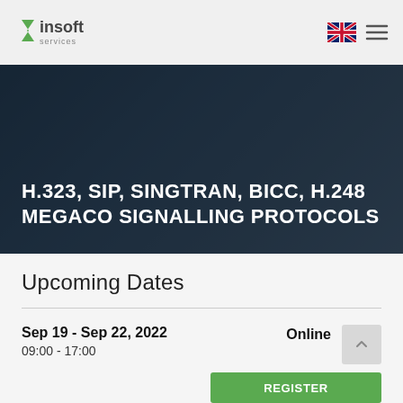insoft services
H.323, SIP, SINGTRAN, BICC, H.248 MEGACO SIGNALLING PROTOCOLS
Upcoming Dates
Sep 19 - Sep 22, 2022
09:00 - 17:00
Online
REGISTER